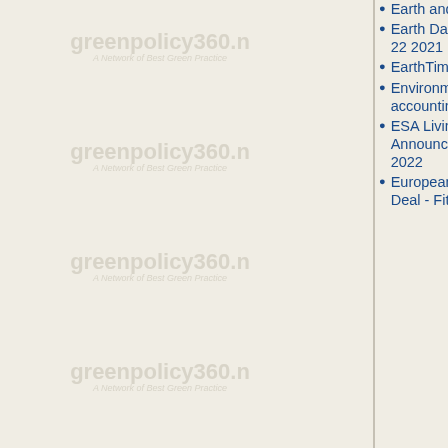[Figure (logo): greenpolicy360.net watermark logo repeated vertically on left sidebar]
Earth and Space, Politics
Earth Day Summit - April 22 2021
EarthTime
Environmental full-cost accounting
ESA Living Planet Announcement - May 2022
European Union Green Deal - Fit for 55
O
of the Day
Green Stories of the Day - GreenPolicy360 Archive
GreenPolicy360 Archive Highlights 2013
GreenPolicy360 Archive Highlights 2014
GreenPolicy360 Archive Highlights 2015
GreenPolicy360 Archive Highlights 2016
GreenPolicy360 Archive Highlights 2017
GreenPolicy360 Archive Highlights 2018
O
Oil-G Res Dril Arct
Our Exp
P
Per
Pla Hun doc film
S
Stu Stri 15,
T
Thin
Tim